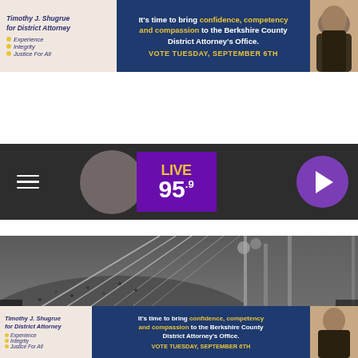[Figure (screenshot): Political advertisement for Timothy J. Shugrue for District Attorney featuring text: 'It's time to bring confidence, competency and compassion to the Berkshire County District Attorney's Office. VOTE TUESDAY, SEPTEMBER 6TH' with bullet points: Experience, Integrity, Justice For All, and a photo of a person]
[Figure (screenshot): Radio station header for LIVE 95.9 with hamburger menu, station logo in purple, circular pink graphic, and play button]
[Figure (screenshot): Navigation bar with LISTEN NOW button and text 'E FOR YOUR LIFE WITH JOHN TESH  INTELLIGENC']
[Figure (screenshot): Social media buttons: Facebook Share button (dark blue) and Tweet button (light blue)]
[Figure (photo): Black and white photograph of a large outdoor concert crowd with stage rigging and diagonal cables visible, performers on stage in white clothing]
[Figure (screenshot): Bottom political advertisement duplicate for Timothy J. Shugrue for District Attorney]